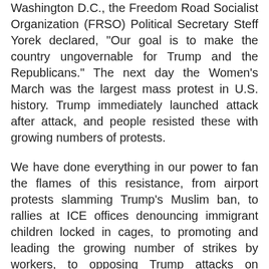Washington D.C., the Freedom Road Socialist Organization (FRSO) Political Secretary Steff Yorek declared, "Our goal is to make the country ungovernable for Trump and the Republicans." The next day the Women's March was the largest mass protest in U.S. history. Trump immediately launched attack after attack, and people resisted these with growing numbers of protests.
We have done everything in our power to fan the flames of this resistance, from airport protests slamming Trump's Muslim ban, to rallies at ICE offices denouncing immigrant children locked in cages, to promoting and leading the growing number of strikes by workers, to opposing Trump attacks on LGBTQ+ people. After the righteous anger of widespread militant protests against the gruesome Minneapolis police murder of George Floyd, it is safe to say there are more people standing up and fighting back in our country than any time since the early 1970s. Say it with us, "Stand up! Fight back!"
So what is next? We are organizing people to keep it in